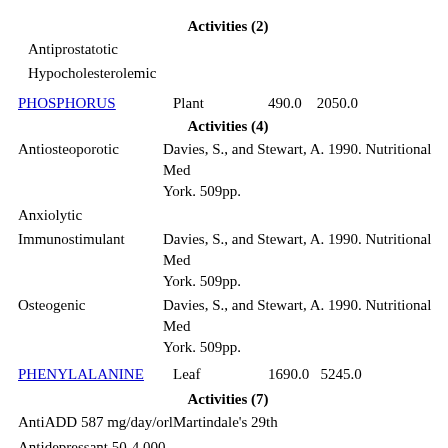Activities (2)
Antiprostatotic
Hypocholesterolemic
PHOSPHORUS    Plant    490.0    2050.0
Activities (4)
Antiosteoporotic  Davies, S., and Stewart, A. 1990. Nutritional Medicine. Avon Books, New York. 509pp.
Anxiolytic
Immunostimulant  Davies, S., and Stewart, A. 1990. Nutritional Medicine. Avon Books, New York. 509pp.
Osteogenic  Davies, S., and Stewart, A. 1990. Nutritional Medicine. Avon Books, New York. 509pp.
PHENYLALANINE    Leaf    1690.0    5245.0
Activities (7)
AntiADD 587 mg/day/orl    Martindale's 29th
Antidepressant 50-4,000 mg/day/man